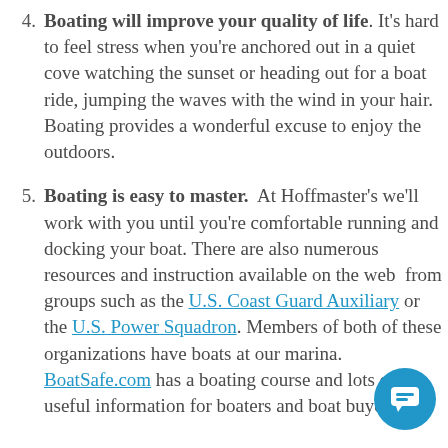4. Boating will improve your quality of life. It's hard to feel stress when you're anchored out in a quiet cove watching the sunset or heading out for a boat ride, jumping the waves with the wind in your hair. Boating provides a wonderful excuse to enjoy the outdoors.
5. Boating is easy to master. At Hoffmaster's we'll work with you until you're comfortable running and docking your boat. There are also numerous resources and instruction available on the web from groups such as the U.S. Coast Guard Auxiliary or the U.S. Power Squadron. Members of both of these organizations have boats at our marina. BoatSafe.com has a boating course and lots of useful information for boaters and boat buyers.